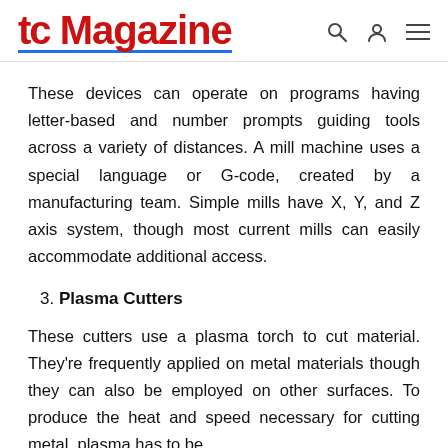tc Magazine
These devices can operate on programs having letter-based and number prompts guiding tools across a variety of distances. A mill machine uses a special language or G-code, created by a manufacturing team. Simple mills have X, Y, and Z axis system, though most current mills can easily accommodate additional access.
3. Plasma Cutters
These cutters use a plasma torch to cut material. They're frequently applied on metal materials though they can also be employed on other surfaces. To produce the heat and speed necessary for cutting metal, plasma has to be